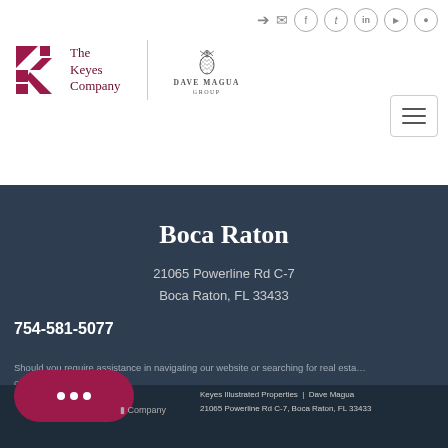[Figure (logo): The Keyes Company logo with stylized K and Dave Magua Group pineapple logo]
Boca Raton
21065 Powerline Rd C-7
Boca Raton, FL 33433
754-581-5077
Should you require assistance in navigating our website or searching for real estate, please contact our offices at 754-581-5077.
Keyes Illustrated Properties  |  Dave Magua
21065 Powerline Rd C-7, Boca Raton, FL 33433